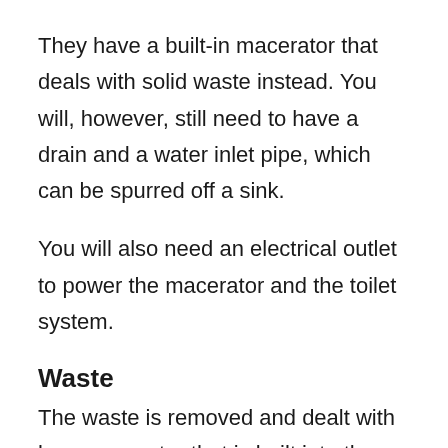They have a built-in macerator that deals with solid waste instead. You will, however, still need to have a drain and a water inlet pipe, which can be spurred off a sink.
You will also need an electrical outlet to power the macerator and the toilet system.
Waste
The waste is removed and dealt with by a macerator that is built into the base of the toilet.